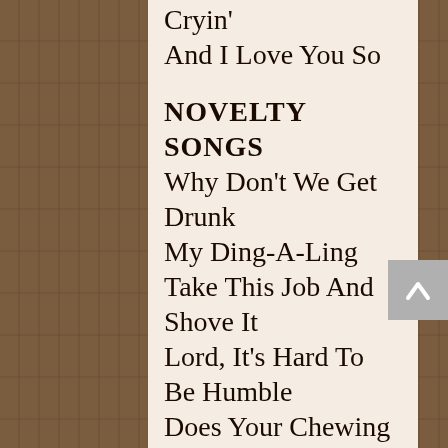Cryin'
And I Love You So
NOVELTY SONGS
Why Don't We Get Drunk
My Ding-A-Ling
Take This Job And Shove It
Lord, It's Hard To Be Humble
Does Your Chewing